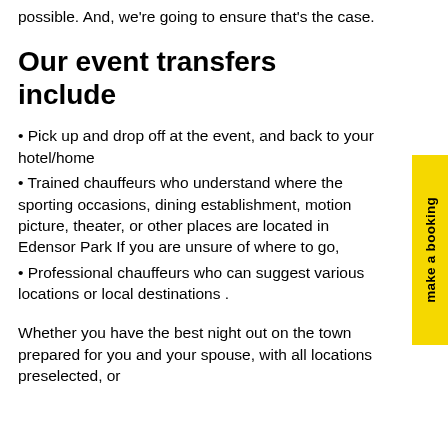possible. And, we're going to ensure that's the case.
Our event transfers include
Pick up and drop off at the event, and back to your hotel/home
Trained chauffeurs who understand where the sporting occasions, dining establishment, motion picture, theater, or other places are located in Edensor Park If you are unsure of where to go,
Professional chauffeurs who can suggest various locations or local destinations .
Whether you have the best night out on the town prepared for you and your spouse, with all locations preselected, or